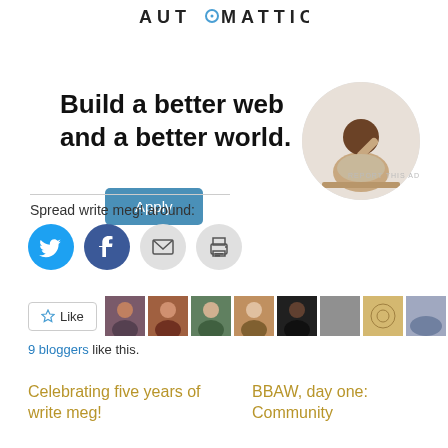[Figure (logo): Automattic logo with stylized letter O as circle]
[Figure (infographic): Automattic job ad: 'Build a better web and a better world.' with Apply button and circular photo of a man thinking at a desk]
Spread write meg! around:
[Figure (illustration): Row of social sharing icons: Twitter (blue bird), Facebook (blue f), Email (envelope), Print (printer)]
[Figure (illustration): Like button with star icon, followed by a row of 9 blogger avatar thumbnail photos]
9 bloggers like this.
Celebrating five years of write meg!
BBAW, day one: Community